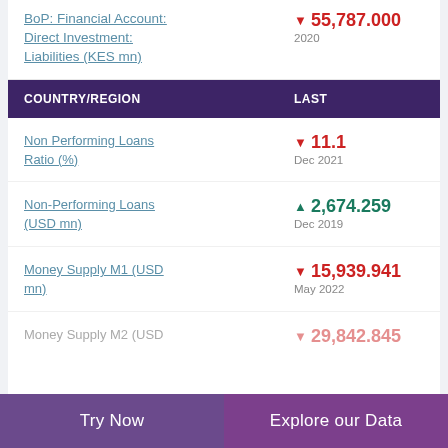BoP: Financial Account: Direct Investment: Liabilities (KES mn)
▼ 55,787.000
2020
| COUNTRY/REGION | LAST |
| --- | --- |
Non Performing Loans Ratio (%)
▼ 11.1
Dec 2021
Non-Performing Loans (USD mn)
▲ 2,674.259
Dec 2019
Money Supply M1 (USD mn)
▼ 15,939.941
May 2022
Money Supply M2 (USD
▼ 29,842.845
Try Now    Explore our Data